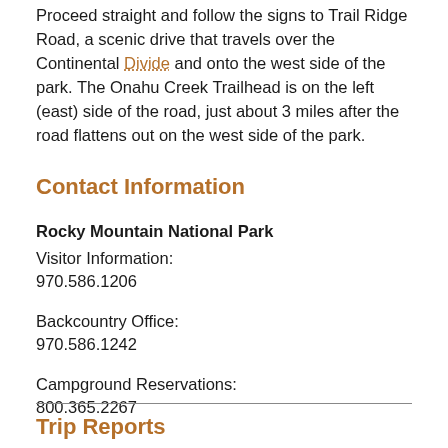Proceed straight and follow the signs to Trail Ridge Road, a scenic drive that travels over the Continental Divide and onto the west side of the park. The Onahu Creek Trailhead is on the left (east) side of the road, just about 3 miles after the road flattens out on the west side of the park.
Contact Information
Rocky Mountain National Park
Visitor Information:
970.586.1206

Backcountry Office:
970.586.1242

Campground Reservations:
800.365.2267

Emergency Dispatch:
970.586.1203
Trip Reports